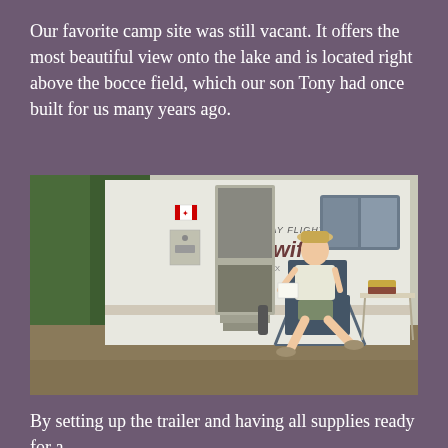Our favorite camp site was still vacant. It offers the most beautiful view onto the lake and is located right above the bocce field, which our son Tony had once built for us many years ago.
[Figure (photo): A person sitting in a camping chair outside a Jay Flight Swift SLX trailer by Jayco, wearing a hat and t-shirt, holding papers, with a folding table beside them and trees in the background.]
By setting up the trailer and having all supplies ready for a